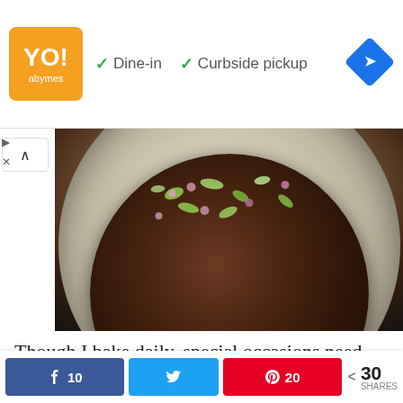[Figure (screenshot): Advertisement banner showing a restaurant logo (orange square with text), checkmarks for Dine-in and Curbside pickup, and a blue navigation diamond icon]
[Figure (photo): Close-up photo of a dark chocolate cake topped with pistachios and dried rose petals in a white ceramic plate, viewed from above against a dark background]
Though I bake daily, special occasions need special dishes, right? It was hubby's birthday and I wanted to do special for him. He is not a cake person, but there are two of us who love
[Figure (screenshot): Social sharing bar with Facebook share button showing 10, Twitter share button, Pinterest share button showing 20, and total share count of 30 SHARES]